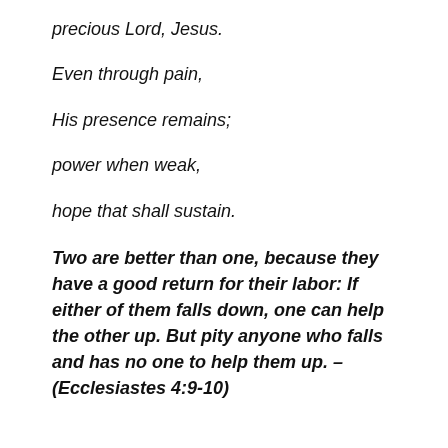precious Lord, Jesus.
Even through pain,
His presence remains;
power when weak,
hope that shall sustain.
Two are better than one, because they have a good return for their labor: If either of them falls down, one can help the other up. But pity anyone who falls and has no one to help them up. – (Ecclesiastes 4:9-10)